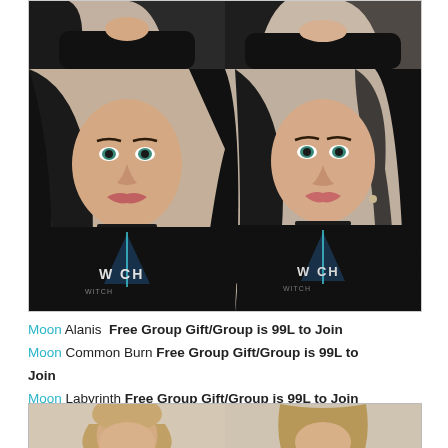[Figure (photo): Four-panel grid of 3D avatar women with long black hair wearing black t-shirts with 'WITCH' graphic design. Top row shows partial torso/shoulder views, bottom row shows closer face and upper body portraits.]
Moon Alanis  Free Group Gift/Group is 99L to Join
Moon Common Burn  Free Group Gift/Group is 99L to Join
Moon Labyrinth  Free Group Gift/Group is 99L to Join
Moon Tennessee  Free Group Gift/Group is 99L to Join
[Figure (photo): Partial bottom strip showing two 3D avatar women with lighter/blonde hair, cropped at head level.]